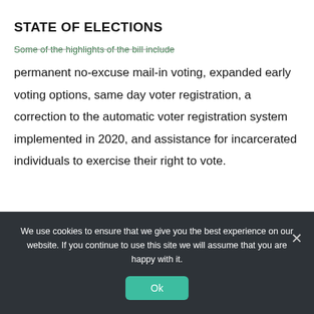STATE OF ELECTIONS
Some of the highlights of the bill include
permanent no-excuse mail-in voting, expanded early voting options, same day voter registration, a correction to the automatic voter registration system implemented in 2020, and assistance for incarcerated individuals to exercise their right to vote.
We use cookies to ensure that we give you the best experience on our website. If you continue to use this site we will assume that you are happy with it.